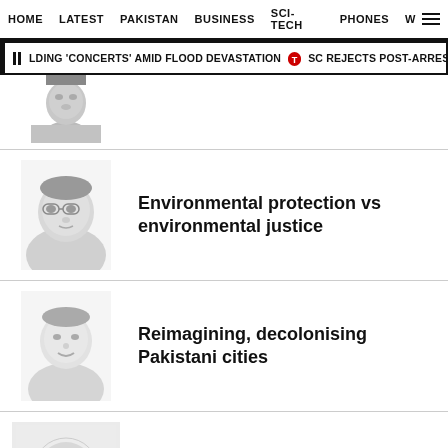HOME  LATEST  PAKISTAN  BUSINESS  SCI-TECH  PHONES  W
LDING 'CONCERTS' AMID FLOOD DEVASTATION  SC REJECTS POST-ARREST BAIL O
[Figure (photo): Partial headshot of a man, cropped at top]
Environmental protection vs environmental justice
[Figure (photo): Headshot of a bespectacled man in formal attire]
Reimagining, decolonising Pakistani cities
[Figure (photo): Headshot of a smiling man]
Floods, aftermath and way forward
[Figure (logo): Express Tribune logo placeholder with T icon and TRIBUNE text]